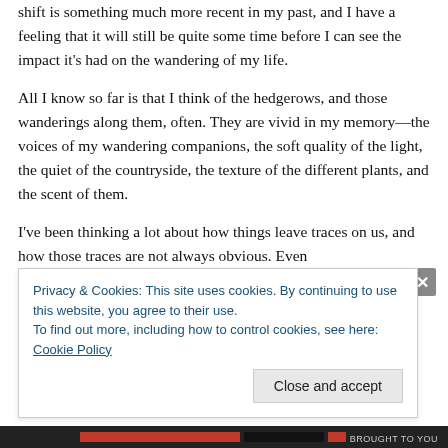shift is something much more recent in my past, and I have a feeling that it will still be quite some time before I can see the impact it's had on the wandering of my life.
All I know so far is that I think of the hedgerows, and those wanderings along them, often. They are vivid in my memory—the voices of my wandering companions, the soft quality of the light, the quiet of the countryside, the texture of the different plants, and the scent of them.
I've been thinking a lot about how things leave traces on us, and how those traces are not always obvious. Even
Privacy & Cookies: This site uses cookies. By continuing to use this website, you agree to their use.
To find out more, including how to control cookies, see here: Cookie Policy
Close and accept